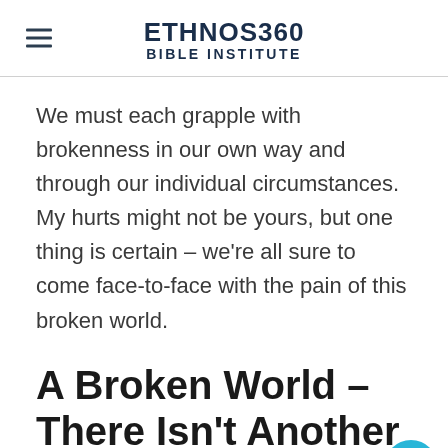ETHNOS360 BIBLE INSTITUTE
We must each grapple with brokenness in our own way and through our individual circumstances. My hurts might not be yours, but one thing is certain – we're all sure to come face-to-face with the pain of this broken world.
A Broken World – There Isn't Another One To Live In